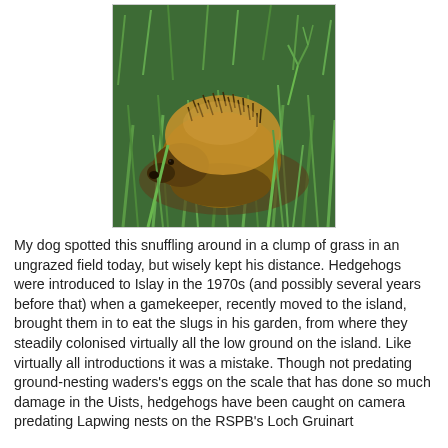[Figure (photo): A hedgehog snuffling in a clump of green grass in an ungrazed field. The hedgehog is curled slightly, showing its brown spiny back, surrounded by long green grass blades.]
My dog spotted this snuffling around in a clump of grass in an ungrazed field today, but wisely kept his distance. Hedgehogs were introduced to Islay in the 1970s (and possibly several years before that) when a gamekeeper, recently moved to the island, brought them in to eat the slugs in his garden, from where they steadily colonised virtually all the low ground on the island. Like virtually all introductions it was a mistake. Though not predating ground-nesting waders's eggs on the scale that has done so much damage in the Uists, hedgehogs have been caught on camera predating Lapwing nests on the RSPB's Loch Gruinart